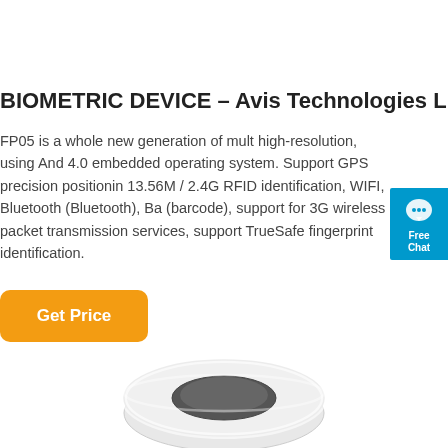BIOMETRIC DEVICE – Avis Technologies Lim
FP05 is a whole new generation of mult high-resolution, using And 4.0 embedded operating system. Support GPS precision positionin 13.56M / 2.4G RFID identification, WIFI, Bluetooth (Bluetooth), Ba (barcode), support for 3G wireless packet transmission services, support TrueSafe fingerprint identification.
[Figure (other): Orange rounded-rectangle 'Get Price' button]
[Figure (other): Blue chat widget with speech bubble icon, 'Free Chat' label]
[Figure (photo): Product image of biometric device (circular/disc-shaped device) shown from above, partially visible at bottom of page]